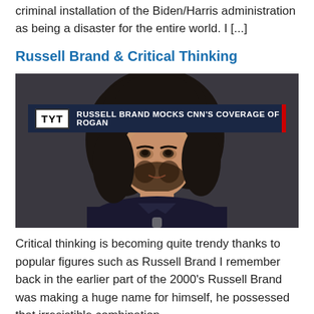criminal installation of the Biden/Harris administration as being a disaster for the entire world. I [...]
Russell Brand & Critical Thinking
[Figure (photo): TYT news screenshot showing Russell Brand with banner text 'RUSSELL BRAND MOCKS CNN'S COVERAGE OF ROGAN'. Man with long curly dark hair and beard, wearing a dark suit.]
Critical thinking is becoming quite trendy thanks to popular figures such as Russell Brand I remember back in the earlier part of the 2000's Russell Brand was making a huge name for himself, he possessed that irresistible combination